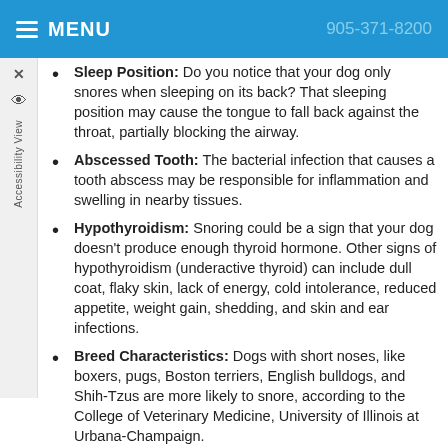MENU  905-371-8200
Sleep Position: Do you notice that your dog only snores when sleeping on its back? That sleeping position may cause the tongue to fall back against the throat, partially blocking the airway.
Abscessed Tooth: The bacterial infection that causes a tooth abscess may be responsible for inflammation and swelling in nearby tissues.
Hypothyroidism: Snoring could be a sign that your dog doesn't produce enough thyroid hormone. Other signs of hypothyroidism (underactive thyroid) can include dull coat, flaky skin, lack of energy, cold intolerance, reduced appetite, weight gain, shedding, and skin and ear infections.
Breed Characteristics: Dogs with short noses, like boxers, pugs, Boston terriers, English bulldogs, and Shih-Tzus are more likely to snore, according to the College of Veterinary Medicine, University of Illinois at Urbana-Champaign.
Obstructions: Anything that prevents the free flow of the air, whether it's a growth somewhere in your pet's